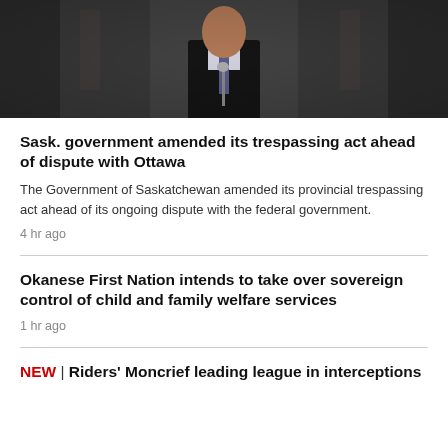[Figure (photo): A man in a dark suit and tie standing at a microphone podium, photographed from torso up]
Sask. government amended its trespassing act ahead of dispute with Ottawa
The Government of Saskatchewan amended its provincial trespassing act ahead of its ongoing dispute with the federal government.
4 hr ago
Okanese First Nation intends to take over sovereign control of child and family welfare services
1 hr ago
NEW | Riders' Moncrief leading league in interceptions